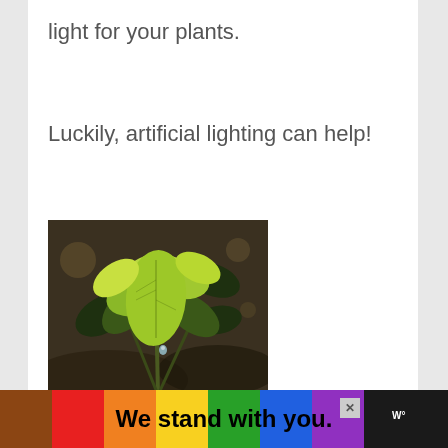light for your plants.
Luckily, artificial lighting can help!
[Figure (photo): Close-up photograph of young green plant seedlings with leaves, in a garden or outdoor setting with blurred dark background.]
[Figure (infographic): Advertisement banner: rainbow colored strip with text 'We stand with you.' in bold black, close button marked X, and brand logo on dark background.]